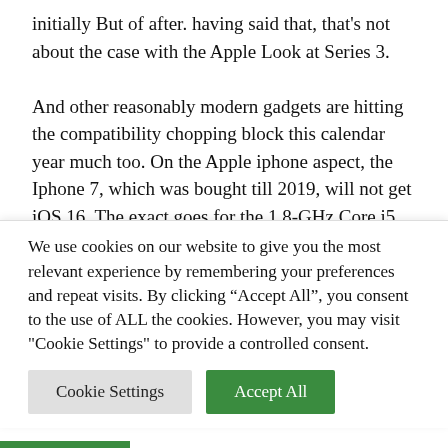initially But of after. having said that, that's not about the case with the Apple Look at Series 3.

And other reasonably modern gadgets are hitting the compatibility chopping block this calendar year much too. On the Apple iphone aspect, the Iphone 7, which was bought till 2019, will not get iOS 16. The exact goes for the 1.8-GHz Core i5 MacBook Air 12-inch MacBook, also bought in 2019. And while the Apple Tv set High definition escaped obsolescence this time close to, it probable will not be able to support the future tvOS
We use cookies on our website to give you the most relevant experience by remembering your preferences and repeat visits. By clicking "Accept All", you consent to the use of ALL the cookies. However, you may visit "Cookie Settings" to provide a controlled consent.